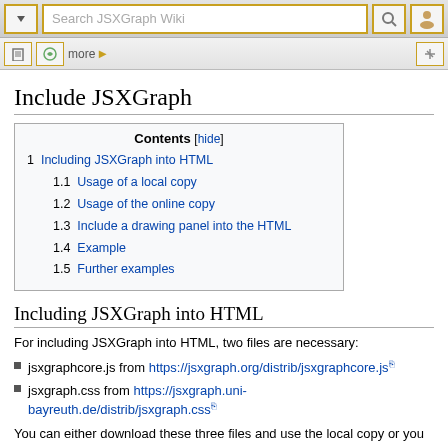Search JSXGraph Wiki
Include JSXGraph
| Contents |
| --- |
| 1 Including JSXGraph into HTML |
| 1.1 Usage of a local copy |
| 1.2 Usage of the online copy |
| 1.3 Include a drawing panel into the HTML |
| 1.4 Example |
| 1.5 Further examples |
Including JSXGraph into HTML
For including JSXGraph into HTML, two files are necessary:
jsxgraphcore.js from https://jsxgraph.org/distrib/jsxgraphcore.js
jsxgraph.css from https://jsxgraph.uni-bayreuth.de/distrib/jsxgraph.css
You can either download these three files and use the local copy or you